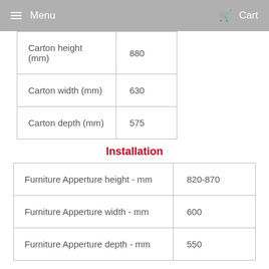Menu  Cart
| Carton height (mm) | 880 |
| Carton width (mm) | 630 |
| Carton depth (mm) | 575 |
Installation
| Furniture Apperture height - mm | 820-870 |
| Furniture Apperture width - mm | 600 |
| Furniture Apperture depth - mm | 550 |